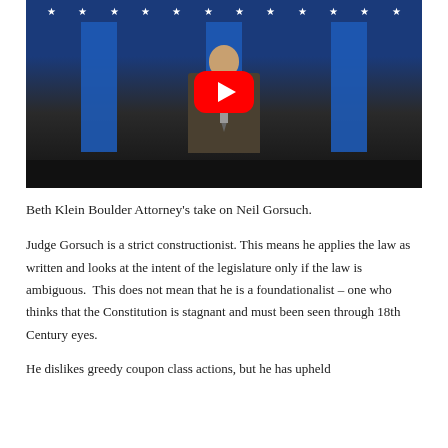[Figure (screenshot): YouTube video thumbnail showing a man in a suit speaking at a podium with a microphone, American flag with stars in the background, YouTube play button overlay in center]
Beth Klein Boulder Attorney's take on Neil Gorsuch.
Judge Gorsuch is a strict constructionist. This means he applies the law as written and looks at the intent of the legislature only if the law is ambiguous.  This does not mean that he is a foundationalist – one who thinks that the Constitution is stagnant and must been seen through 18th Century eyes.
He dislikes greedy coupon class actions, but he has upheld